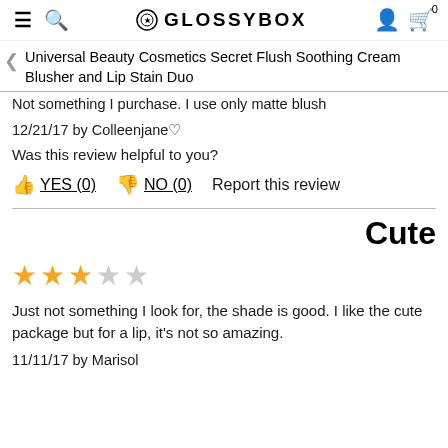GLOSSYBOX
Universal Beauty Cosmetics Secret Flush Soothing Cream Blusher and Lip Stain Duo
Not something I purchase. I use only matte blush
12/21/17 by Colleenjane♡
Was this review helpful to you?
YES (0)  NO (0)  Report this review
Cute
[Figure (other): 3 out of 5 stars rating]
Just not something I look for, the shade is good. I like the cute package but for a lip, it's not so amazing.
11/11/17 by Marisol